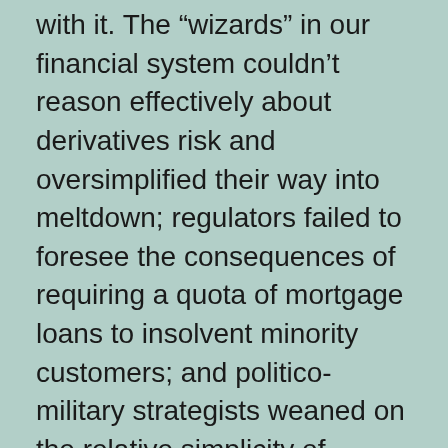with it. The “wizards” in our financial system couldn’t reason effectively about derivatives risk and oversimplified their way into meltdown; regulators failed to foresee the consequences of requiring a quota of mortgage loans to insolvent minority customers; and politico-military strategists weaned on the relative simplicity of confronting nation-state adversaries thrashed pitifully when required to game against fuzzy coalitions of state and non-state actors.
Charles Murray and Richard Herrnstein argued tellingly in their 1994 book The Bell Curve that